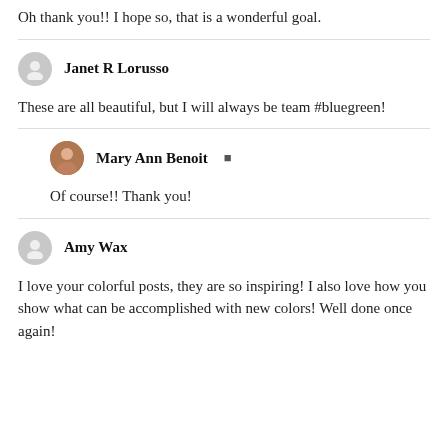Oh thank you!! I hope so, that is a wonderful goal.
Janet R Lorusso
These are all beautiful, but I will always be team #bluegreen!
Mary Ann Benoit
Of course!! Thank you!
Amy Wax
I love your colorful posts, they are so inspiring! I also love how you show what can be accomplished with new colors! Well done once again!